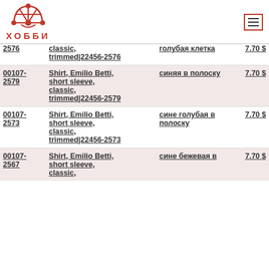ХОББИ — navigation header with logo
| ID | Name | Color | Price |
| --- | --- | --- | --- |
| 00107-2576 | Shirt, Emilio Betti, short sleeve, classic, trimmed|22456-2576 | голубая клетка | 7.70 $ |
| 00107-2579 | Shirt, Emilio Betti, short sleeve, classic, trimmed|22456-2579 | синяя в полоску | 7.70 $ |
| 00107-2573 | Shirt, Emilio Betti, short sleeve, classic, trimmed|22456-2573 | сине голубая в полоску | 7.70 $ |
| 00107-2567 | Shirt, Emilio Betti, short sleeve, classic, | сине бежевая в | 7.70 $ |